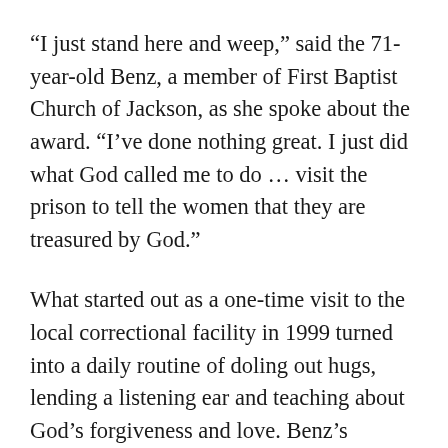“I just stand here and weep,” said the 71-year-old Benz, a member of First Baptist Church of Jackson, as she spoke about the award. “I’ve done nothing great. I just did what God called me to do … visit the prison to tell the women that they are treasured by God.”
What started out as a one-time visit to the local correctional facility in 1999 turned into a daily routine of doling out hugs, lending a listening ear and teaching about God’s forgiveness and love. Benz’s passion for the women was so contagious that it didn’t take long for her husband Dick to join in on the visits.